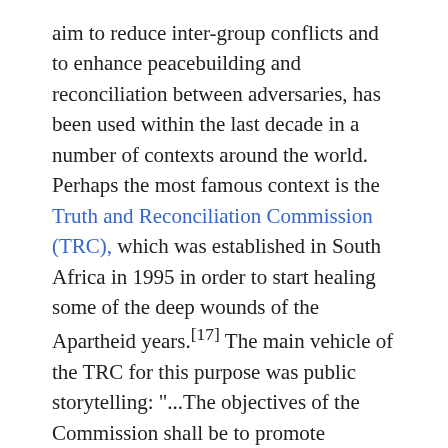aim to reduce inter-group conflicts and to enhance peacebuilding and reconciliation between adversaries, has been used within the last decade in a number of contexts around the world. Perhaps the most famous context is the Truth and Reconciliation Commission (TRC), which was established in South Africa in 1995 in order to start healing some of the deep wounds of the Apartheid years.[17] The main vehicle of the TRC for this purpose was public storytelling: "...The objectives of the Commission shall be to promote national unity and reconciliation in a spirit of understanding which transcends the conflicts...of the past by...establishing as complete a picture as possible of the causes, nature and extent of the gross violations of human rights which were committed during the period... including... the perspectives of the victims and the motives and perspectives of the persons responsible for the commission of the violations...the granting of amnesty to persons who make full disclosure of all the relevant